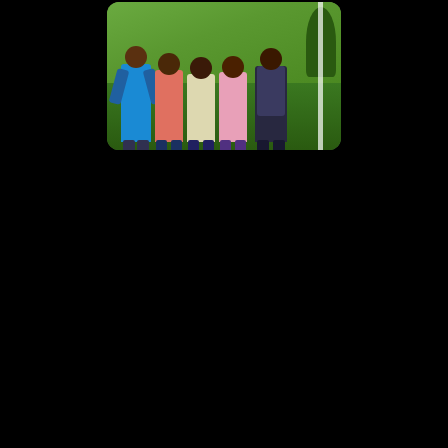[Figure (photo): A group of children standing together outdoors on grass, posing for a photo. The children appear to be of various ages and are wearing colorful clothing. The background shows green grass and trees.]